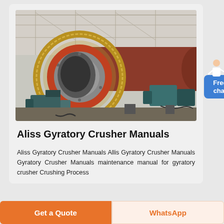[Figure (photo): Industrial ball mill / grinding machine with large red cylindrical drum, gear ring, and teal-colored motors, photographed inside a factory with steel roof structure]
Aliss Gyratory Crusher Manuals
Aliss Gyratory Crusher Manuals Allis Gyratory Crusher Manuals Gyratory Crusher Manuals maintenance manual for gyratory crusher Crushing Process